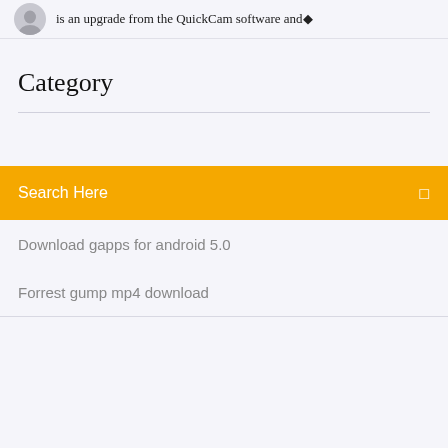is an upgrade from the QuickCam software and◆
Category
Search Here
Download gapps for android 5.0
Forrest gump mp4 download